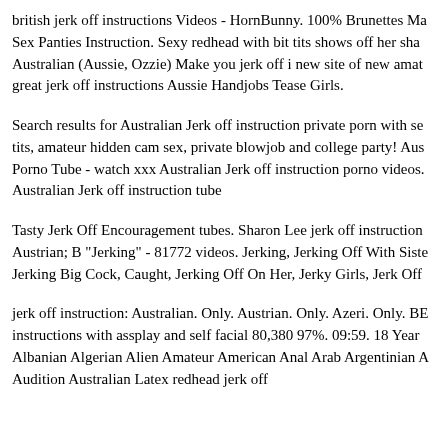british jerk off instructions Videos - HornBunny. 100% Brunettes Ma Sex Panties Instruction. Sexy redhead with bit tits shows off her sha Australian (Aussie, Ozzie) Make you jerk off i new site of new amat great jerk off instructions Aussie Handjobs Tease Girls.
Search results for Australian Jerk off instruction private porn with se tits, amateur hidden cam sex, private blowjob and college party! Aus Porno Tube - watch xxx Australian Jerk off instruction porno videos. Australian Jerk off instruction tube
Tasty Jerk Off Encouragement tubes. Sharon Lee jerk off instruction Austrian; B "Jerking" - 81772 videos. Jerking, Jerking Off With Siste Jerking Big Cock, Caught, Jerking Off On Her, Jerky Girls, Jerk Off
jerk off instruction: Australian. Only. Austrian. Only. Azeri. Only. BE instructions with assplay and self facial 80,380 97%. 09:59. 18 Year Albanian Algerian Alien Amateur American Anal Arab Argentinian A Audition Australian Latex redhead jerk off